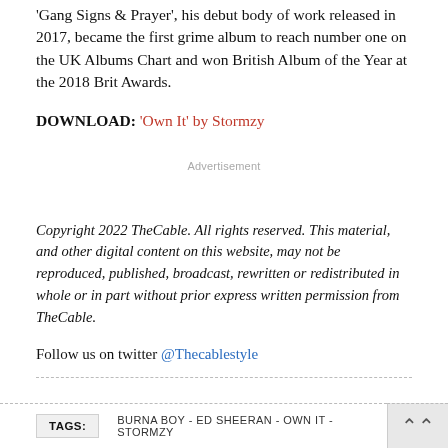'Gang Signs & Prayer', his debut body of work released in 2017, became the first grime album to reach number one on the UK Albums Chart and won British Album of the Year at the 2018 Brit Awards.
DOWNLOAD: 'Own It' by Stormzy
Advertisement
Copyright 2022 TheCable. All rights reserved. This material, and other digital content on this website, may not be reproduced, published, broadcast, rewritten or redistributed in whole or in part without prior express written permission from TheCable.
Follow us on twitter @Thecablestyle
TAGS: BURNA BOY - ED SHEERAN - OWN IT - STORMZY